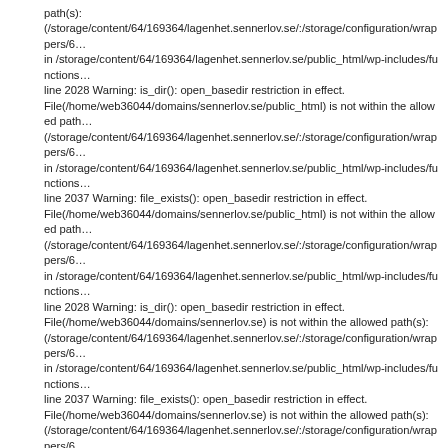path(s):
(/storage/content/64/169364/lagenhet.sennerlov.se/:/storage/configuration/wrappers/6... in /storage/content/64/169364/lagenhet.sennerlov.se/public_html/wp-includes/functions... line 2028 Warning: is_dir(): open_basedir restriction in effect.
File(/home/web36044/domains/sennerlov.se/public_html) is not within the allowed path... (/storage/content/64/169364/lagenhet.sennerlov.se/:/storage/configuration/wrappers/6... in /storage/content/64/169364/lagenhet.sennerlov.se/public_html/wp-includes/functions... line 2037 Warning: file_exists(): open_basedir restriction in effect.
File(/home/web36044/domains/sennerlov.se/public_html) is not within the allowed path... (/storage/content/64/169364/lagenhet.sennerlov.se/:/storage/configuration/wrappers/6... in /storage/content/64/169364/lagenhet.sennerlov.se/public_html/wp-includes/functions... line 2028 Warning: is_dir(): open_basedir restriction in effect.
File(/home/web36044/domains/sennerlov.se) is not within the allowed path(s):
(/storage/content/64/169364/lagenhet.sennerlov.se/:/storage/configuration/wrappers/6... in /storage/content/64/169364/lagenhet.sennerlov.se/public_html/wp-includes/functions... line 2037 Warning: file_exists(): open_basedir restriction in effect.
File(/home/web36044/domains/sennerlov.se) is not within the allowed path(s):
(/storage/content/64/169364/lagenhet.sennerlov.se/:/storage/configuration/wrappers/6... in /storage/content/64/169364/lagenhet.sennerlov.se/public_html/wp-includes/functions... line 2028 Warning: is_dir(): open_basedir restriction in effect. File(/home/web36044/do... not within the allowed path(s):
(/storage/content/64/169364/lagenhet.sennerlov.se/:/storage/configuration/wrappers/6... in /storage/content/64/169364/lagenhet.sennerlov.se/public_html/wp-includes/functions... line 2037 Warning: file_exists(): open_basedir restriction in effect.
File(/home/web36044/domains) is not within the allowed path(s):
(/storage/content/64/169364/lagenhet.sennerlov.se/:/storage/configuration/wrappers/6... in /storage/content/64/169364/lagenhet.sennerlov.se/public_html/wp-includes/functions... line 2028 Warning: is_dir(): open_basedir restriction in effect. File(/home/web36044) is... the allowed path(s):
(/storage/content/64/169364/lagenhet.sennerlov.se/:/storage/configuration/wrappers/6... in /storage/content/64/169364/lagenhet.sennerlov.se/public_html/wp-includes/functions... line 2037 Warning: file_exists(): open_basedir restriction in effect. File(/home/web3604... within the allowed path(s):
(/storage/content/64/169364/lagenhet.sennerlov.se/:/storage/configuration/wrappers/6... in /storage/content/64/169364/lagenhet.sennerlov.se/public_html/wp-includes/functions... line 2028 Warning: is_dir(): open_basedir restriction in effect. File(/home) is not within... allowed path(s):
(/storage/content/64/169364/lagenhet.sennerlov.se/:/storage/configuration/wrappers/6...